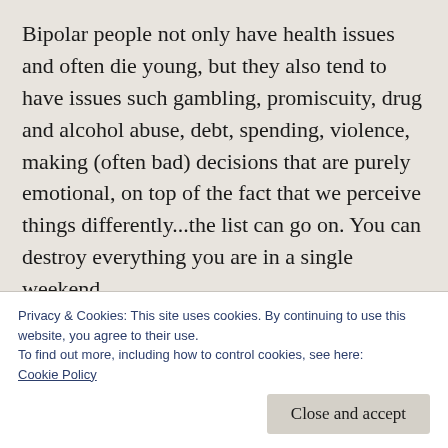Bipolar people not only have health issues and often die young, but they also tend to have issues such gambling, promiscuity, drug and alcohol abuse, debt, spending, violence, making (often bad) decisions that are purely emotional, on top of the fact that we perceive things differently...the list can go on. You can destroy everything you are in a single weekend.
Worst of all is that you black out. Much of it you don't or can't remember. All you know is that
Privacy & Cookies: This site uses cookies. By continuing to use this website, you agree to their use.
To find out more, including how to control cookies, see here:
Cookie Policy
that sets in afterwards, which is another story.